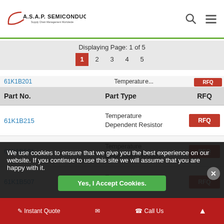A.S.A.P. SEMICONDUCTOR – Supply Chain Management Worldwide
Displaying Page: 1 of 5
Page navigation: 1 2 3 4 5
| Part No. | Part Type | RFQ |
| --- | --- | --- |
| 61K1B215 | Temperature Dependent Resistor | RFQ |
| 61K1B501 | Temperature Dependent Resistor | RFQ |
| 61K1B507 | Temperature Dependent Resistor | RFQ |
| 61K2A100 | Temperature Dependent Resistor | RFQ |
| 61K2A200 | Temperature | RFQ |
We use cookies to ensure that we give you the best experience on our website. If you continue to use this site we will assume that you are happy with it.
Yes, I Accept Cookies.